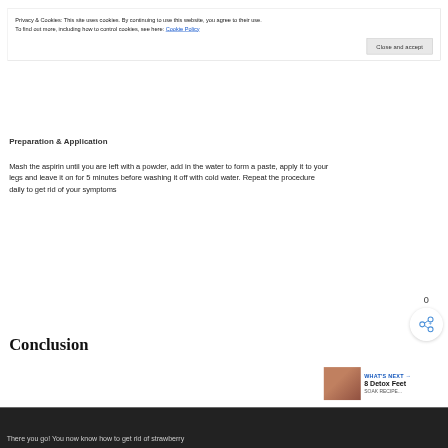Privacy & Cookies: This site uses cookies. By continuing to use this website, you agree to their use.
To find out more, including how to control cookies, see here: Cookie Policy
Close and accept
Preparation & Application
Mash the aspirin until you are left with a powder, add in the water to form a paste, apply it to your legs and leave it on for 5 minutes before washing it off with cold water. Repeat the procedure daily to get rid of your symptoms
Conclusion
There you go! You now know how to get rid of strawberry